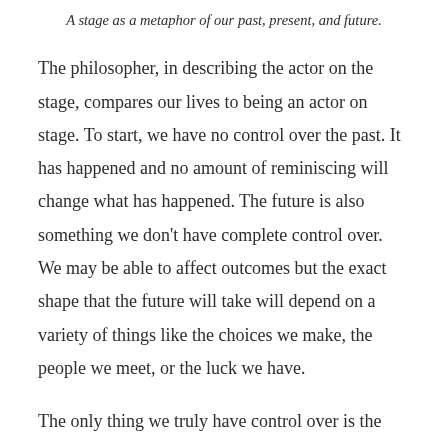A stage as a metaphor of our past, present, and future.
The philosopher, in describing the actor on the stage, compares our lives to being an actor on stage. To start, we have no control over the past. It has happened and no amount of reminiscing will change what has happened. The future is also something we don't have complete control over. We may be able to affect outcomes but the exact shape that the future will take will depend on a variety of things like the choices we make, the people we meet, or the luck we have.
The only thing we truly have control over is the present – the space we can see around the spotlight. This isn't a new concept, of course. Teachers and philosophers have advocated this approach to living for millennia.